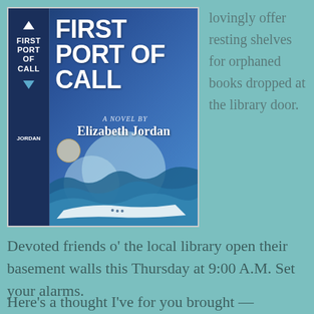[Figure (illustration): Book cover of 'First Port of Call' a novel by Elizabeth Jordan. Blue tones with ocean waves and stylized iceberg/glacier imagery. Spine on left reads FIRST PORT OF CALL with arrows and JORDAN. Main cover has large white text title and author name.]
lovingly offer resting shelves for orphaned books dropped at the library door.
Devoted friends o' the local library open their basement walls this Thursday at 9:00 A.M. Set your alarms.
Here's a thought I've for you brought —